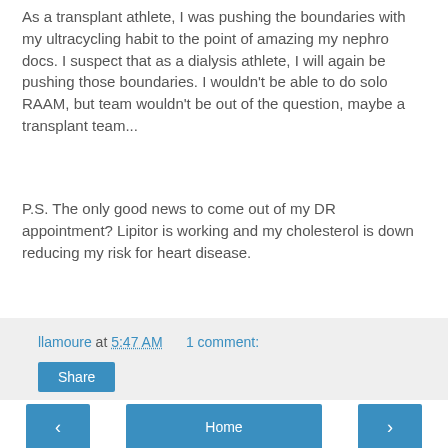As a transplant athlete, I was pushing the boundaries with my ultracycling habit to the point of amazing my nephro docs. I suspect that as a dialysis athlete, I will again be pushing those boundaries. I wouldn't be able to do solo RAAM, but team wouldn't be out of the question, maybe a transplant team...
P.S. The only good news to come out of my DR appointment? Lipitor is working and my cholesterol is down reducing my risk for heart disease.
llamoure at 5:47 AM    1 comment:
Share
Home
View web version
Powered by Blogger.